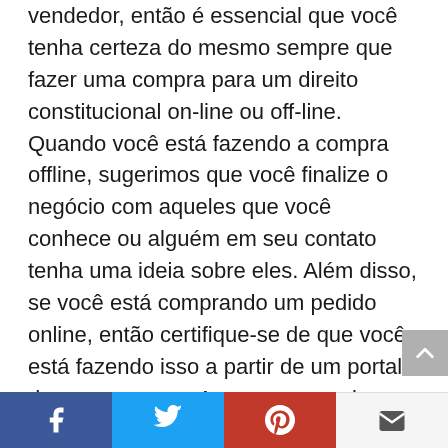vendedor, então é essencial que você tenha certeza do mesmo sempre que fazer uma compra para um direito constitucional on-line ou off-line. Quando você está fazendo a compra offline, sugerimos que você finalize o negócio com aqueles que você conhece ou alguém em seu contato tenha uma ideia sobre eles. Além disso, se você está comprando um pedido online, então certifique-se de que você está fazendo isso a partir de um portal de renome como Amazon ou qualquer outro que discutimos aqui.
O veredicto
Esperamos que agora você tenha uma resposta
Facebook | Twitter | Pinterest | Email